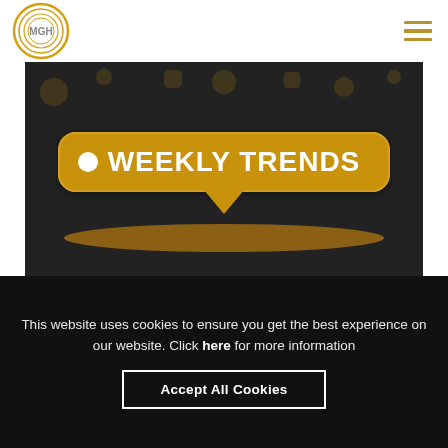MGH logo and navigation menu
[Figure (illustration): Weekly Trends banner image with gold speech bubble on dark background reading 'WEEKLY TRENDS']
What's MGHappening in Social Media: Nov. 19, 2018
This website uses cookies to ensure you get the best experience on our website. Click here for more information
Accept All Cookies